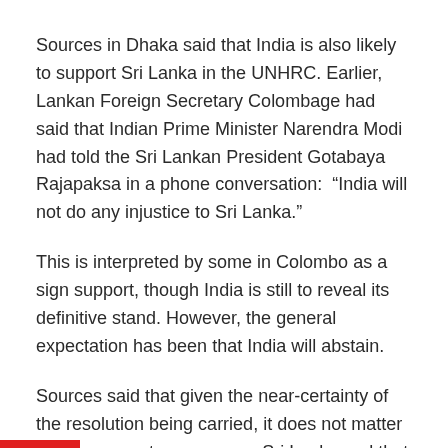Sources in Dhaka said that India is also likely to support Sri Lanka in the UNHRC. Earlier, Lankan Foreign Secretary Colombage had said that Indian Prime Minister Narendra Modi had told the Sri Lankan President Gotabaya Rajapaksa in a phone conversation:  “India will not do any injustice to Sri Lanka.”
This is interpreted by some in Colombo as a sign support, though India is still to reveal its definitive stand. However, the general expectation has been that India will abstain.
Sources said that given the near-certainty of the resolution being carried, it does not matter if India supports or opposes Sri Lanka and that abstention may be a safe way out of a sticky situation.